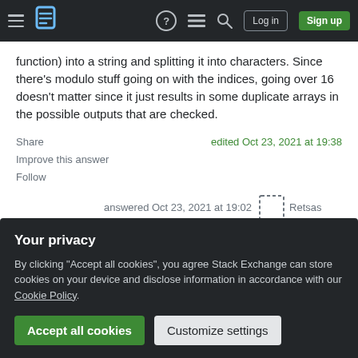Stack Exchange navigation bar with hamburger menu, logo, help, chat, search, Log in, Sign up
function) into a string and splitting it into characters. Since there's modulo stuff going on with the indices, going over 16 doesn't matter since it just results in some duplicate arrays in the possible outputs that are checked.
Share
Improve this answer
Follow
edited Oct 23, 2021 at 19:38
answered Oct 23, 2021 at 19:02
Your privacy
By clicking "Accept all cookies", you agree Stack Exchange can store cookies on your device and disclose information in accordance with our Cookie Policy.
Accept all cookies
Customize settings